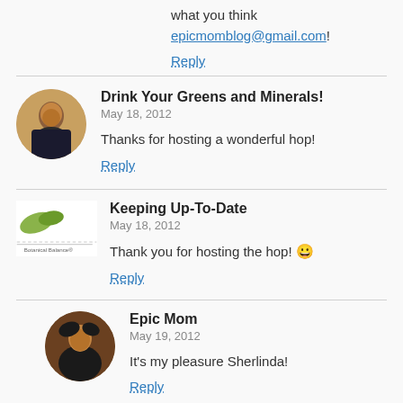what you think epicmomblog@gmail.com!
Reply
Drink Your Greens and Minerals!
May 18, 2012
Thanks for hosting a wonderful hop!
Reply
Keeping Up-To-Date
May 18, 2012
Thank you for hosting the hop! 😀
Reply
Epic Mom
May 19, 2012
It's my pleasure Sherlinda!
Reply